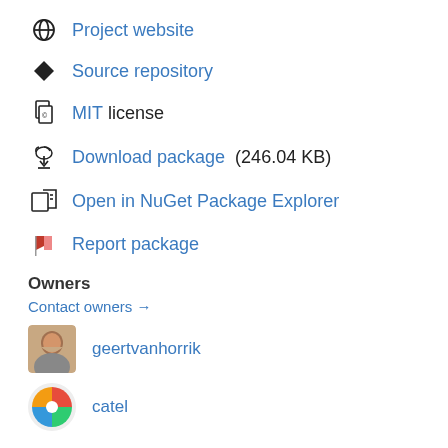Project website
Source repository
MIT license
Download package  (246.04 KB)
Open in NuGet Package Explorer
Report package
Owners
Contact owners →
geertvanhorrik
catel